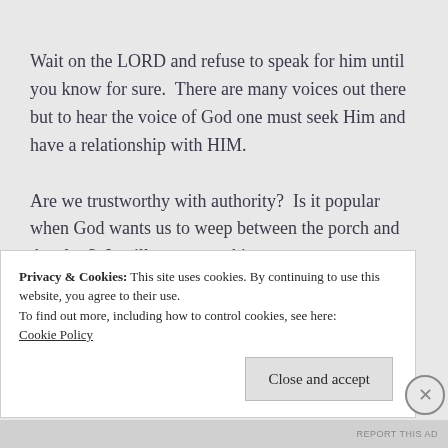Wait on the LORD and refuse to speak for him until you know for sure.  There are many voices out there but to hear the voice of God one must seek Him and have a relationship with HIM.
Are we trustworthy with authority?  Is it popular when God wants us to weep between the porch and the altar?  It will cost everything
Privacy & Cookies: This site uses cookies. By continuing to use this website, you agree to their use.
To find out more, including how to control cookies, see here:
Cookie Policy
Close and accept